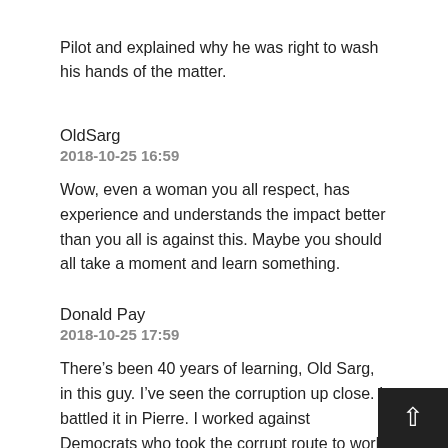Pilot and explained why he was right to wash his hands of the matter.
OldSarg
2018-10-25 16:59
Wow, even a woman you all respect, has experience and understands the impact better than you all is against this. Maybe you should all take a moment and learn something.
Donald Pay
2018-10-25 17:59
There’s been 40 years of learning, Old Sarg, in this guy. I’ve seen the corruption up close. I battled it in Pierre. I worked against Democrats who took the corrupt route to work against the interests of South Dakotans. You aren’t going to solve this with anything coming out of Pierre. It is the people’s job to clean up the mess. If you read anything about organized crime, as I did when we were dealing with the sewage ash fiasco, you